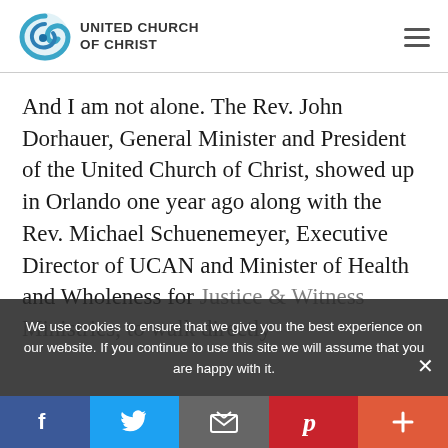[Figure (logo): United Church of Christ logo with spiral icon and text 'UNITED CHURCH OF CHRIST']
And I am not alone. The Rev. John Dorhauer, General Minister and President of the United Church of Christ, showed up in Orlando one year ago along with the Rev. Michael Schuenemeyer, Executive Director of UCAN and Minister of Health and Wholeness for Justice & Witness Ministries, to walk directly...
We use cookies to ensure that we give you the best experience on our website. If you continue to use this site we will assume that you are happy with it.